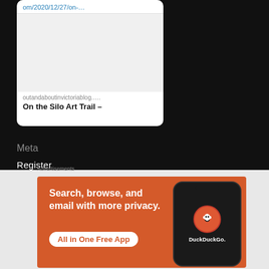om/2020/12/27/on-…
[Figure (screenshot): White card with a URL in blue at top, a large light gray image placeholder area, a site name 'outandaboutinvictoriablog....' in gray, and a bold title 'On the Silo Art Trail –']
Meta
Register
Log in
[Figure (screenshot): DuckDuckGo advertisement banner with orange background. Text: 'Search, browse, and email with more privacy. All in One Free App'. Shows DuckDuckGo logo and phone mockup on the right.]